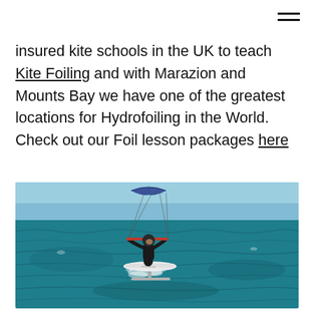insured kite schools in the UK to teach Kite Foiling and with Marazion and Mounts Bay we have one of the greatest locations for Hydrofoiling in the World. Check out our Foil lesson packages here
[Figure (photo): A person kite foiling on the ocean, riding a hydrofoil board above the water with a kite above them, blue sky and choppy turquoise sea in the background, Mounts Bay / Marazion area, UK.]